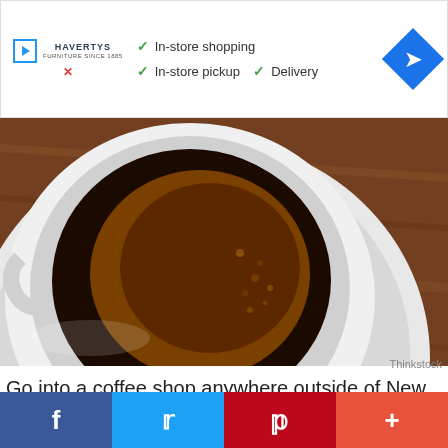[Figure (screenshot): Advertisement banner for Havertys furniture store showing checkmarks for In-store shopping, In-store pickup, and Delivery, with a blue navigation arrow icon on the right]
[Figure (photo): Overhead view of a white coffee cup and saucer with black espresso coffee, placed on a dark wooden table]
Thinkstock
Go into a coffee shop anywhere outside of New England and order a “coffee regular” and you’ll likely either receive a black coffee or the question, “How would you like it?”
[Figure (infographic): Social media sharing bar with Facebook, Twitter, Pinterest, and more (+) buttons]